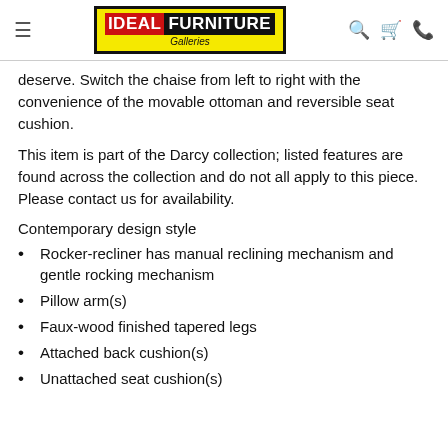Ideal Furniture Galleries
deserve. Switch the chaise from left to right with the convenience of the movable ottoman and reversible seat cushion.
This item is part of the Darcy collection; listed features are found across the collection and do not all apply to this piece. Please contact us for availability.
Contemporary design style
Rocker-recliner has manual reclining mechanism and gentle rocking mechanism
Pillow arm(s)
Faux-wood finished tapered legs
Attached back cushion(s)
Unattached seat cushion(s)